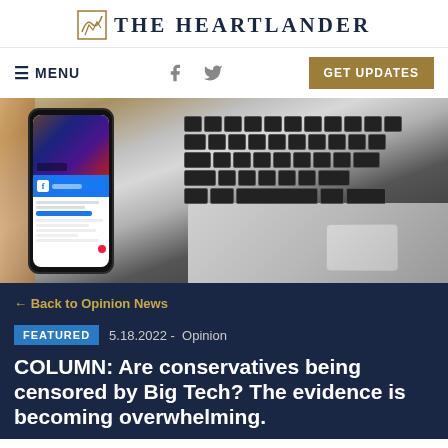THE HEARTLANDER
≡ MENU | GET UPDATES
[Figure (photo): A smartphone displaying a Facebook profile page lying next to an open laptop keyboard on a wooden surface.]
← Back to Opinion News
FEATURED  5.18.2022 -  Opinion
COLUMN: Are conservatives being censored by Big Tech? The evidence is becoming overwhelming.